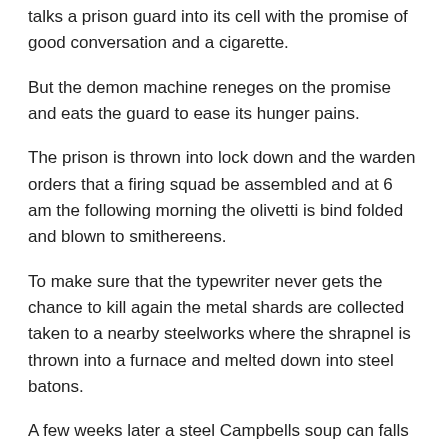talks a prison guard into its cell with the promise of good conversation and a cigarette.
But the demon machine reneges on the promise and eats the guard to ease its hunger pains.
The prison is thrown into lock down and the warden orders that a firing squad be assembled and at 6 am the following morning the olivetti is bind folded and blown to smithereens.
To make sure that the typewriter never gets the chance to kill again the metal shards are collected taken to a nearby steelworks where the shrapnel is thrown into a furnace and melted down into steel batons.
A few weeks later a steel Campbells soup can falls from a shelf in Denver Colorado and a small piece of steel breaks away and is blown towards Springwood High t...